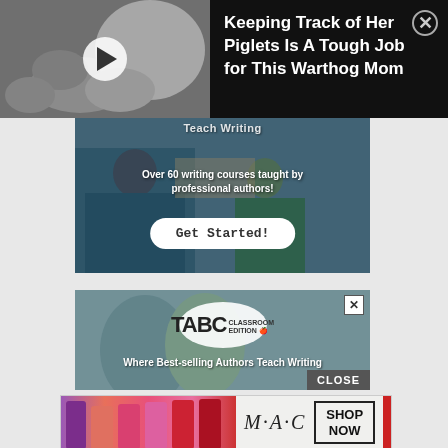[Figure (screenshot): Video ad thumbnail showing warthogs/piglets in black and white with play button overlay, dark background panel with title text 'Keeping Track of Her Piglets Is A Tough Job for This Warthog Mom' and close X button]
[Figure (screenshot): Advertisement banner for writing courses showing children in blue shirts, text 'Teach Writing', 'Over 60 writing courses taught by professional authors!', and a 'Get Started!' button]
[Figure (screenshot): TABC Classroom Edition advertisement showing children and the TABC splash logo, text 'Where Best-selling Authors Teach Writing' and a CLOSE button]
[Figure (screenshot): MAC cosmetics advertisement showing colorful lipsticks, MAC logo text, and a SHOP NOW box with a red lipstick on the right]